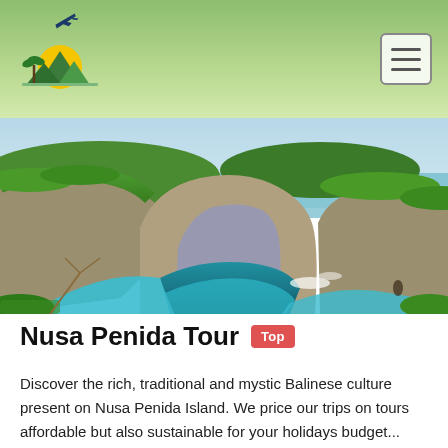[Figure (logo): Travel agency logo with palm trees, mountains, yellow sun, and a blue airplane silhouette]
[Figure (photo): Scenic coastal cliff arch at Nusa Penida Island, Bali, with turquoise blue water below and lush green vegetation above]
Nusa Penida Tour Top
Discover the rich, traditional and mystic Balinese culture present on Nusa Penida Island. We price our trips on tours affordable but also sustainable for your holidays budget...